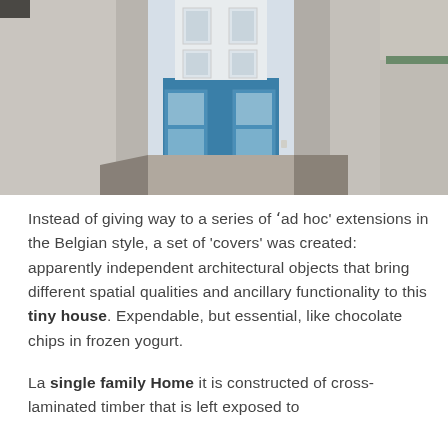[Figure (photo): Narrow alley between white-painted brick buildings leading to a small building with blue tiled facade and large white-framed windows]
Instead of giving way to a series of 'ad hoc' extensions in the Belgian style, a set of 'covers' was created: apparently independent architectural objects that bring different spatial qualities and ancillary functionality to this tiny house. Expendable, but essential, like chocolate chips in frozen yogurt.
La single family Home it is constructed of cross-laminated timber that is left exposed to